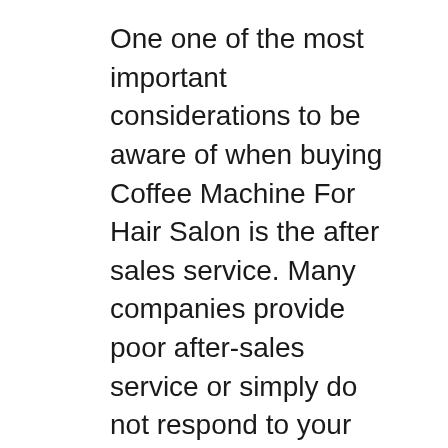One one of the most important considerations to be aware of when buying Coffee Machine For Hair Salon is the after sales service. Many companies provide poor after-sales service or simply do not respond to your email and calls. Choose a company that can provide efficient after sales services to ensure that you get the best value of your purchase.
Conclusion
It is important to consider all these aspects when choosing your Best Coffee Machine For Hair Salon. Also, you should use your time effectively. This is the